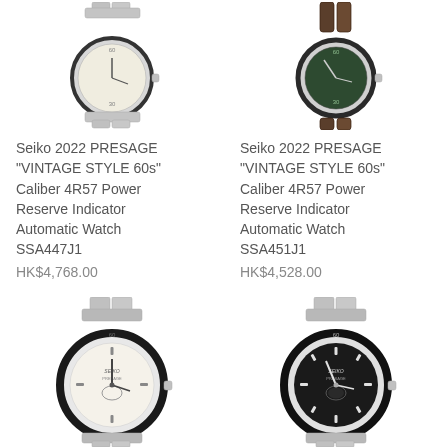[Figure (photo): Seiko 2022 Presage Vintage Style 60s SSA447J1 watch with silver bracelet and cream/silver dial]
Seiko 2022 PRESAGE "VINTAGE STYLE 60s" Caliber 4R57 Power Reserve Indicator Automatic Watch SSA447J1
HK$4,768.00
[Figure (photo): Seiko 2022 Presage Vintage Style 60s SSA451J1 watch with brown leather strap and dark green dial]
Seiko 2022 PRESAGE "VINTAGE STYLE 60s" Caliber 4R57 Power Reserve Indicator Automatic Watch SSA451J1
HK$4,528.00
[Figure (photo): Seiko Presage automatic watch with black bezel, silver bracelet and white/cream open-heart dial]
[Figure (photo): Seiko Presage automatic watch with black bezel, silver bracelet and black open-heart dial]